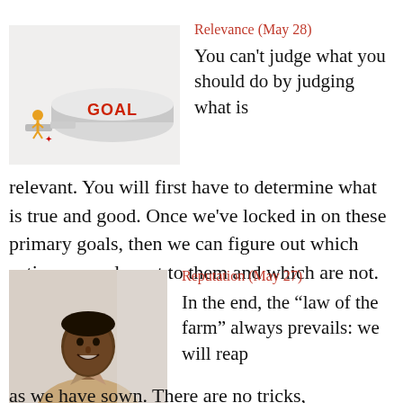[Figure (illustration): A small figure of a person walking across puzzle pieces toward a raised platform labeled GOAL in red letters]
Relevance (May 28)
You can't judge what you should do by judging what is relevant. You will first have to determine what is true and good. Once we've locked in on these primary goals, then we can figure out which actions are relevant to them and which are not.
[Figure (photo): A smiling young Black man in a collared shirt, photographed from the shoulders up against a light background]
Reputation (May 27)
In the end, the “law of the farm” always prevails: we will reap as we have sown. There are no tricks,